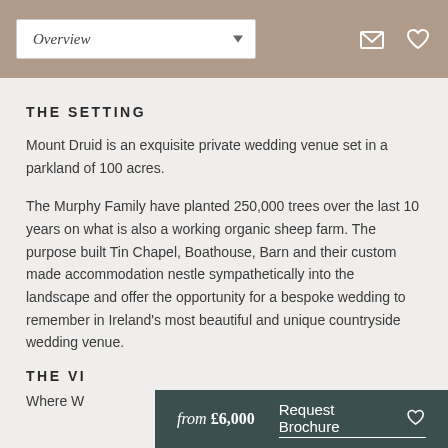Overview
THE SETTING
Mount Druid is an exquisite private wedding venue set in a parkland of 100 acres.
The Murphy Family have planted 250,000 trees over the last 10 years on what is also a working organic sheep farm. The purpose built Tin Chapel, Boathouse, Barn and their custom made accommodation nestle sympathetically into the landscape and offer the opportunity for a bespoke wedding to remember in Ireland's most beautiful and unique countryside wedding venue.
THE VI
Where W
from £6,000  Request Brochure